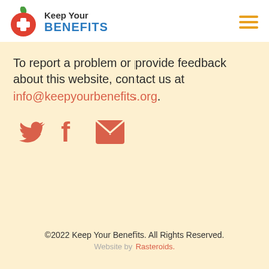[Figure (logo): Keep Your Benefits logo: red apple with white cross, text 'Keep Your BENEFITS' in dark gray and blue, and hamburger menu icon in gold on the right]
To report a problem or provide feedback about this website, contact us at info@keepyourbenefits.org.
[Figure (infographic): Social media icons: Twitter bird, Facebook f, and envelope/email icon in salmon/coral color]
©2022 Keep Your Benefits. All Rights Reserved. Website by Rasteroids.